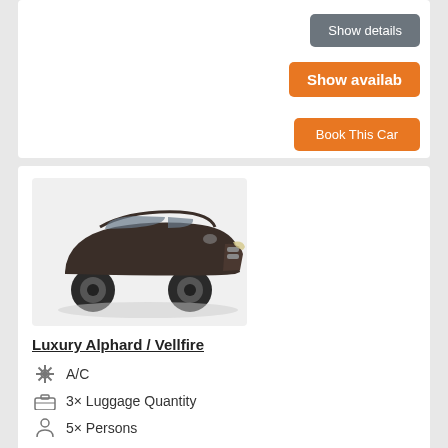Show details
Show availab
Book This Car
[Figure (photo): Toyota Alphard/Vellfire luxury minivan, dark brown/black color, front three-quarter view]
Luxury Alphard / Vellfire
A/C
3× Luggage Quantity
5× Persons
From $200.00 per day
Contact us